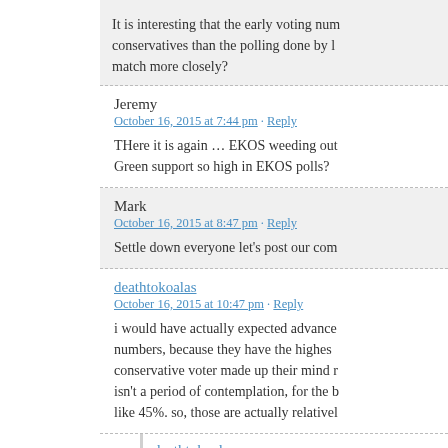It is interesting that the early voting numbers show more conservatives than the polling done by ... match more closely?
Jeremy
October 16, 2015 at 7:44 pm · Reply
THere it is again … EKOS weeding out ... Green support so high in EKOS polls?
Mark
October 16, 2015 at 8:47 pm · Reply
Settle down everyone let's post our com...
deathtokoalas
October 16, 2015 at 10:47 pm · Reply
i would have actually expected advance numbers, because they have the highest... conservative voter made up their mind ... isn't a period of contemplation, for the b... like 45%. so, those are actually relativel...
deathtokoalas
October 16, 2015 at 10:50...